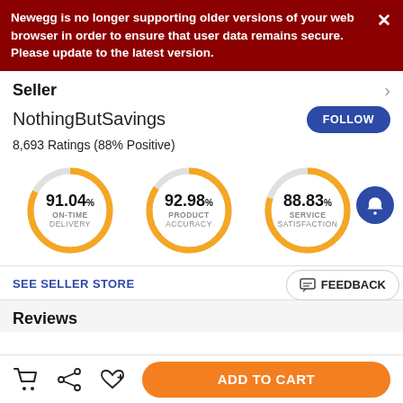Newegg is no longer supporting older versions of your web browser in order to ensure that user data remains secure. Please update to the latest version.
Seller
NothingButSavings
8,693 Ratings (88% Positive)
[Figure (donut-chart): ON-TIME DELIVERY]
[Figure (donut-chart): PRODUCT ACCURACY]
[Figure (donut-chart): SERVICE SATISFACTION]
SEE SELLER STORE
EMA...
FEEDBACK
Reviews
ADD TO CART